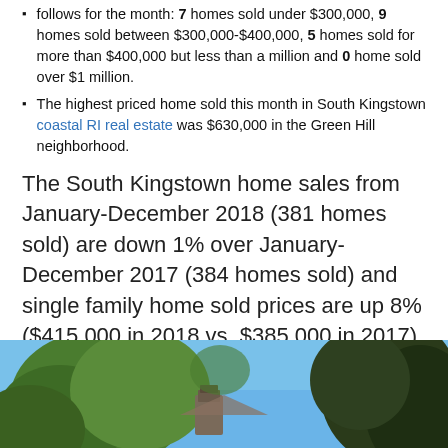follows for the month: 7 homes sold under $300,000, 9 homes sold between $300,000-$400,000, 5 homes sold for more than $400,000 but less than a million and 0 home sold over $1 million.
The highest priced home sold this month in South Kingstown coastal RI real estate was $630,000 in the Green Hill neighborhood.
The South Kingstown home sales from January-December 2018 (381 homes sold) are down 1% over January-December 2017 (384 homes sold) and single family home sold prices are up 8% ($415,000 in 2018 vs. $385,000 in 2017) over the same time period. The average home sold this year was a 3 bedroom, 2 baths and 1700 above ground square feet here.
[Figure (photo): Outdoor photo showing green trees against a blue sky with a partial view of a building or chimney in the background.]